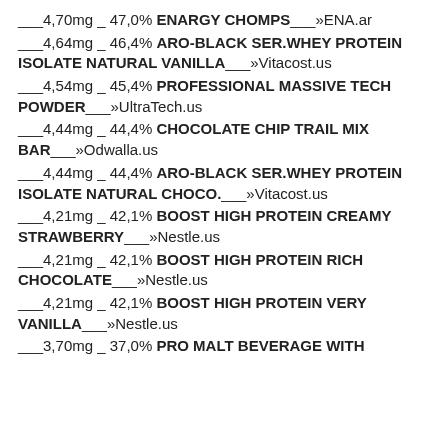___4,70mg _ 47,0% ENARGY CHOMPS___»ENA.ar
___4,64mg _ 46,4% ARO-BLACK SER.WHEY PROTEIN ISOLATE NATURAL VANILLA___»Vitacost.us
___4,54mg _ 45,4% PROFESSIONAL MASSIVE TECH POWDER___»UltraTech.us
___4,44mg _ 44,4% CHOCOLATE CHIP TRAIL MIX BAR___»Odwalla.us
___4,44mg _ 44,4% ARO-BLACK SER.WHEY PROTEIN ISOLATE NATURAL CHOCO.___»Vitacost.us
___4,21mg _ 42,1% BOOST HIGH PROTEIN CREAMY STRAWBERRY___»Nestle.us
___4,21mg _ 42,1% BOOST HIGH PROTEIN RICH CHOCOLATE___»Nestle.us
___4,21mg _ 42,1% BOOST HIGH PROTEIN VERY VANILLA___»Nestle.us
___3,70mg _ 37,0% PRO MALT BEVERAGE WITH